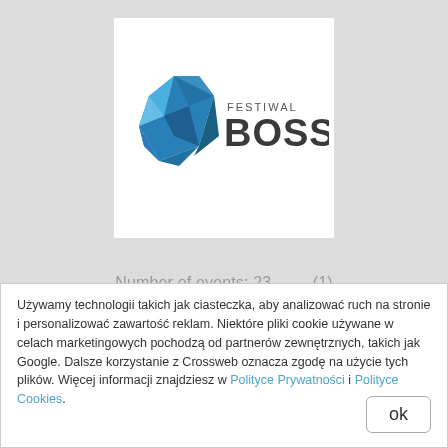[Figure (logo): Festiwal BOSS logo with blue geometric diamond shape on left and text 'FESTIWAL BOSS' on right]
Number of events: 23,        (1)
Click apps
Używamy technologii takich jak ciasteczka, aby analizować ruch na stronie i personalizować zawartość reklam. Niektóre pliki cookie używane w celach marketingowych pochodzą od partnerów zewnętrznych, takich jak Google. Dalsze korzystanie z Crossweb oznacza zgodę na użycie tych plików. Więcej informacji znajdziesz w Polityce Prywatności i Polityce Cookies.